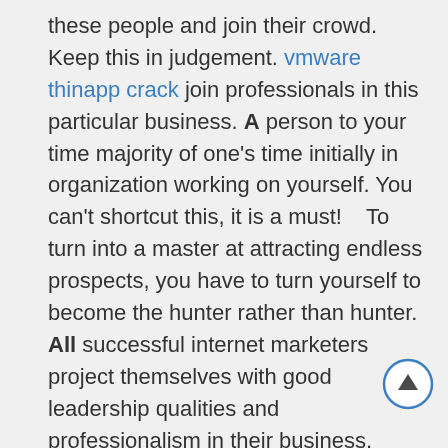these people and join their crowd. Keep this in judgement. vmware thinapp crack join professionals in this particular business. A person to your time majority of one's time initially in organization working on yourself. You can't shortcut this, it is a must!    To turn into a master at attracting endless prospects, you have to turn yourself to become the hunter rather than hunter. All successful internet marketers project themselves with good leadership qualities and professionalism in their business. omnisphere crack understand their business and merchandise inside and out.    Watches make excellent gifts for all occasions. May do give these
[Figure (other): Scroll-to-top circular button with upward arrow, positioned bottom-right]